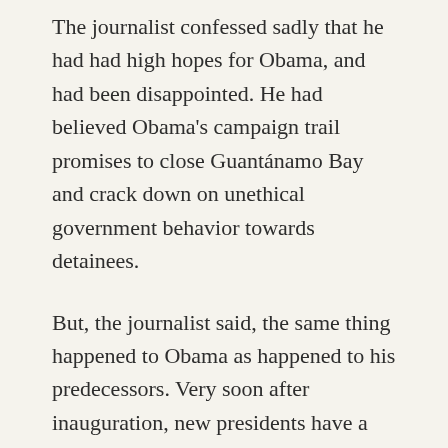The journalist confessed sadly that he had had high hopes for Obama, and had been disappointed. He had believed Obama's campaign trail promises to close Guantánamo Bay and crack down on unethical government behavior towards detainees.
But, the journalist said, the same thing happened to Obama as happened to his predecessors. Very soon after inauguration, new presidents have a meeting with the secret service. Even presidents promising ethics and transparency renege on those promises after that briefing. This might be because of unimaginable, incontrovertible evidence, but